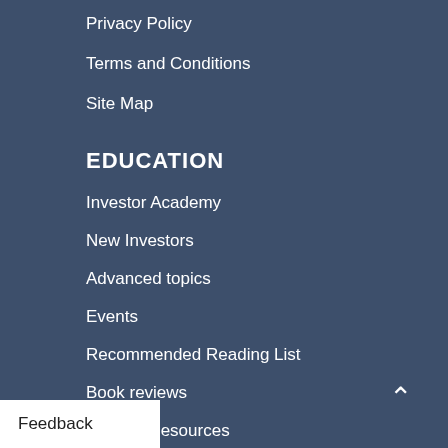Privacy Policy
Terms and Conditions
Site Map
EDUCATION
Investor Academy
New Investors
Advanced topics
Events
Recommended Reading List
Book reviews
Internet Resources
Periodicals
Courses and Tutorials for Investors
MEMBERSHIP
ship
Feedback